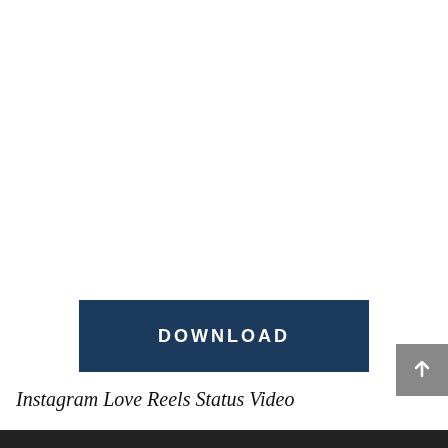[Figure (other): Dark navy blue DOWNLOAD button with white bold uppercase text 'DOWNLOAD' and letter-spacing]
Instagram Love Reels Status Video